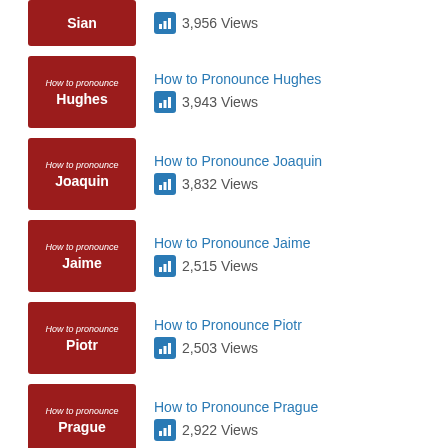Sian — 3,956 Views
How to Pronounce Hughes — 3,943 Views
How to Pronounce Joaquin — 3,832 Views
How to Pronounce Jaime — 2,515 Views
How to Pronounce Piotr — 2,503 Views
How to Pronounce Prague — 2,922 Views